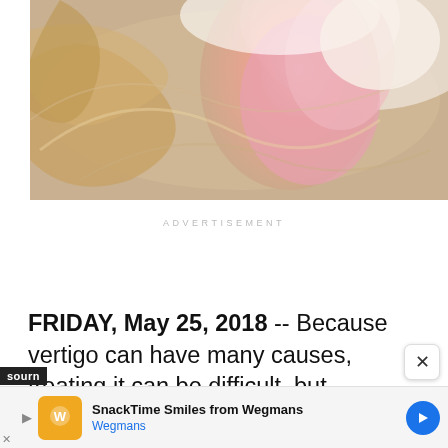[Figure (photo): Blurred motion photo of a person (child) spinning, wearing a pink top, with swirling background suggesting dizziness/vertigo]
ADVERTISEMENT
FRIDAY, May 25, 2018 -- Because vertigo can have many causes, treating it can be difficult, but researchers have identified a new type that may be effectively treated with medication.
SOURN
[Figure (screenshot): Advertisement banner for Wegmans SnackTime Smiles with orange logo icon, text 'SnackTime Smiles from Wegmans / Wegmans', blue arrow button, and X close button]